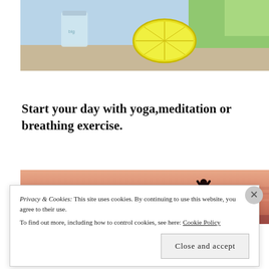[Figure (photo): Photo of a glass jar with liquid and a halved lemon on a table, with green background]
Start your day with yoga,meditation or breathing exercise.
[Figure (photo): Photo of a yoga silhouette against a pink/salmon sunset sky]
Privacy & Cookies: This site uses cookies. By continuing to use this website, you agree to their use.
To find out more, including how to control cookies, see here: Cookie Policy
Close and accept